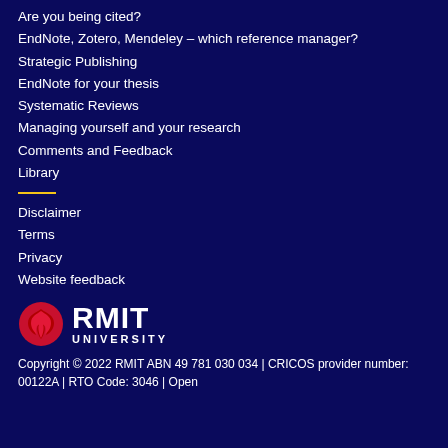Are you being cited?
EndNote, Zotero, Mendeley – which reference manager?
Strategic Publishing
EndNote for your thesis
Systematic Reviews
Managing yourself and your research
Comments and Feedback
Library
Disclaimer
Terms
Privacy
Website feedback
[Figure (logo): RMIT University logo with red maple-leaf-like icon and bold white RMIT UNIVERSITY text]
Copyright © 2022 RMIT ABN 49 781 030 034 | CRICOS provider number: 00122A | RTO Code: 3046 | Open